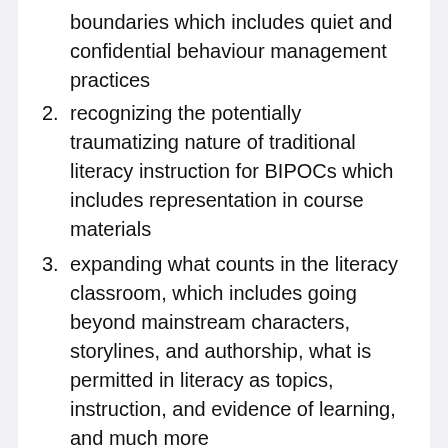boundaries which includes quiet and confidential behaviour management practices
2. recognizing the potentially traumatizing nature of traditional literacy instruction for BIPOCs which includes representation in course materials
3. expanding what counts in the literacy classroom, which includes going beyond mainstream characters, storylines, and authorship, what is permitted in literacy as topics, instruction, and evidence of learning, and much more